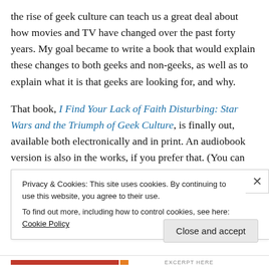the rise of geek culture can teach us a great deal about how movies and TV have changed over the past forty years. My goal became to write a book that would explain these changes to both geeks and non-geeks, as well as to explain what it is that geeks are looking for, and why.
That book, I Find Your Lack of Faith Disturbing: Star Wars and the Triumph of Geek Culture, is finally out, available both electronically and in print. An audiobook version is also in the works, if you prefer that. (You can listen to an excerpt here.)
Privacy & Cookies: This site uses cookies. By continuing to use this website, you agree to their use.
To find out more, including how to control cookies, see here: Cookie Policy
Close and accept